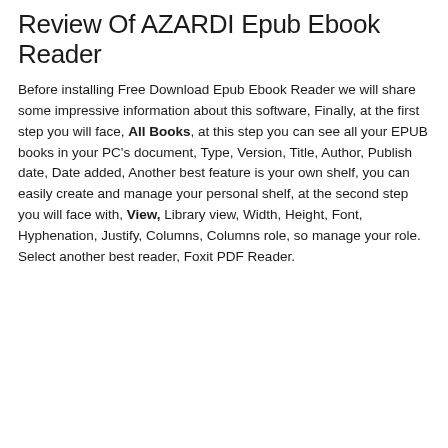Review Of AZARDI Epub Ebook Reader
Before installing Free Download Epub Ebook Reader we will share some impressive information about this software, Finally, at the first step you will face, All Books, at this step you can see all your EPUB books in your PC’s document, Type, Version, Title, Author, Publish date, Date added, Another best feature is your own shelf, you can easily create and manage your personal shelf, at the second step you will face with, View, Library view, Width, Height, Font, Hyphenation, Justify, Columns, Columns role, so manage your role. Select another best reader, Foxit PDF Reader.